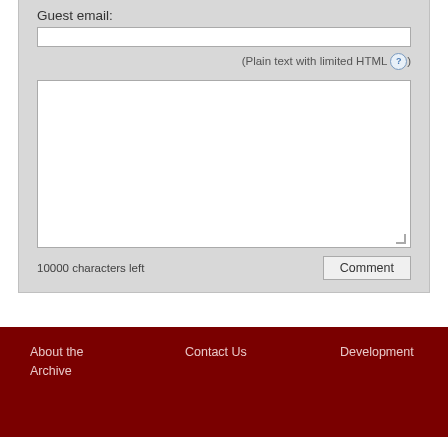Guest email:
[Figure (screenshot): Email input text field (white rectangle)]
(Plain text with limited HTML ?)
[Figure (screenshot): Large comment textarea (white rectangle)]
10000 characters left
[Figure (screenshot): Comment button]
About the Archive
Contact Us
Development